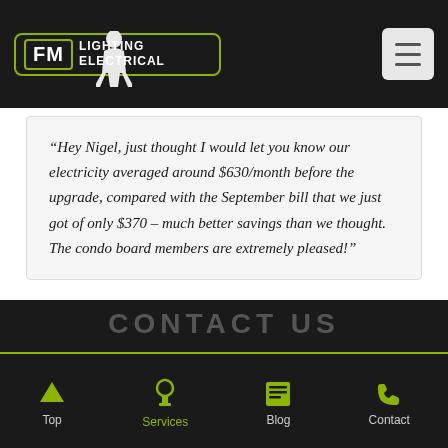FM Lighting Electrical
“Hey Nigel, just thought I would let you know our electricity averaged around $630/month before the upgrade, compared with the September bill that we just got of only $370 – much better savings than we thought. The condo board members are extremely pleased!”
Trevor
CONTACT US
Top  Services  Blog  Contact